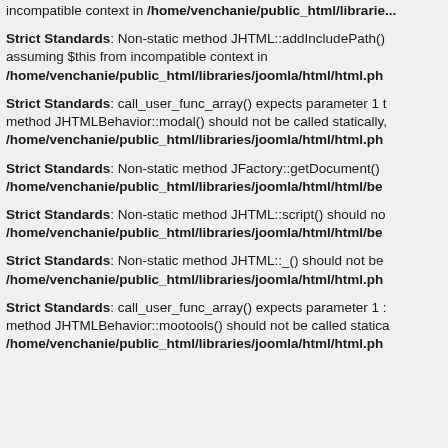incompatible context in /home/venchanie/public_html/libraries/...
Strict Standards: Non-static method JHTML::addIncludePath() assuming $this from incompatible context in /home/venchanie/public_html/libraries/joomla/html/html.ph
Strict Standards: call_user_func_array() expects parameter 1 t method JHTMLBehavior::modal() should not be called statically, /home/venchanie/public_html/libraries/joomla/html/html.ph
Strict Standards: Non-static method JFactory::getDocument() /home/venchanie/public_html/libraries/joomla/html/html/be
Strict Standards: Non-static method JHTML::script() should no /home/venchanie/public_html/libraries/joomla/html/html/be
Strict Standards: Non-static method JHTML::_() should not be /home/venchanie/public_html/libraries/joomla/html/html.ph
Strict Standards: call_user_func_array() expects parameter 1 method JHTMLBehavior::mootools() should not be called statica /home/venchanie/public_html/libraries/joomla/html/html.ph